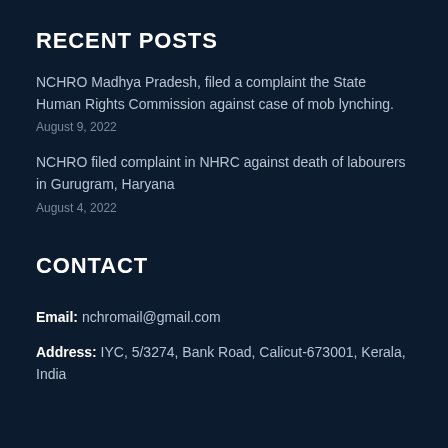RECENT POSTS
NCHRO Madhya Pradesh, filed a complaint the State Human Rights Commission against case of mob lynching.
August 9, 2022
NCHRO filed complaint in NHRC against death of labourers in Gurugram, Haryana
August 4, 2022
CONTACT
Email: nchromail@gmail.com
Address: IYC, 5/3274, Bank Road, Calicut-673001, Kerala, India